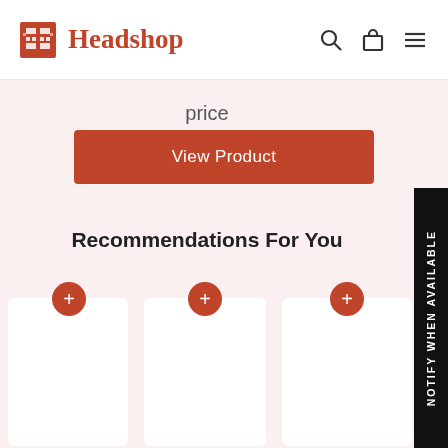Headshop
View Product
Recommendations For You
[Figure (screenshot): Three white product card placeholders with orange '+' buttons above each card, arranged in a row]
NOTIFY WHEN AVAILABLE